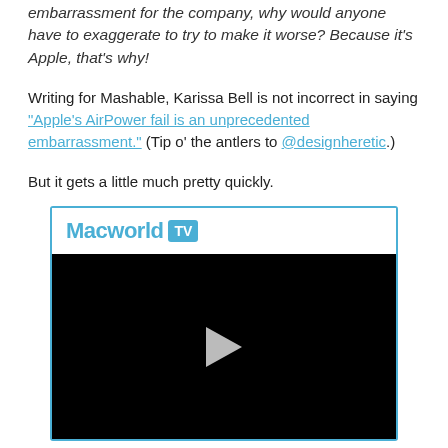embarrassment for the company, why would anyone have to exaggerate to try to make it worse? Because it's Apple, that's why!
Writing for Mashable, Karissa Bell is not incorrect in saying "Apple's AirPower fail is an unprecedented embarrassment." (Tip o' the antlers to @designheretic.)
But it gets a little much pretty quickly.
[Figure (screenshot): Macworld TV video player embed with black video area and play button]